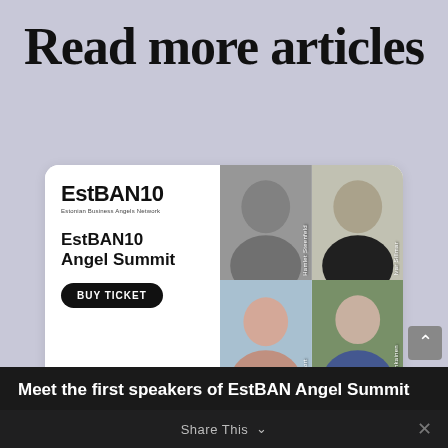Read more articles
[Figure (illustration): EstBAN10 Angel Summit promotional card with logo, 'EstBAN10 Angel Summit' text, 'BUY TICKET' button, sponsor logos (ETV, Delfi, ärilehe, EU flag), and four speaker portrait photos with names: Hamlet Steenfeld, Ivar Sillmar, Alison Fort, Riku Ashkainen]
Meet the first speakers of EstBAN Angel Summit